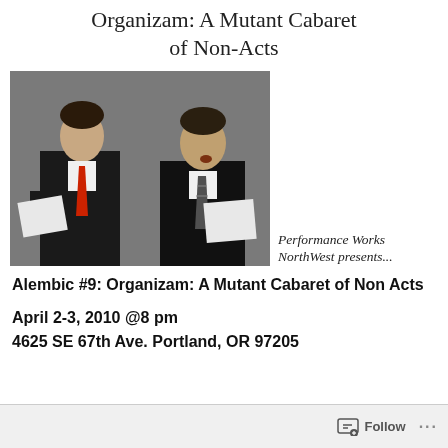Organizam: A Mutant Cabaret of Non-Acts
[Figure (photo): Two men in dark suits standing side by side, one with a red tie and one with a patterned tie, both holding papers and appearing to perform or speak.]
Performance Works NorthWest presents...
Alembic #9:  Organizam: A Mutant Cabaret of Non Acts
April 2-3, 2010 @8 pm
4625 SE 67th Ave. Portland, OR 97205
Follow